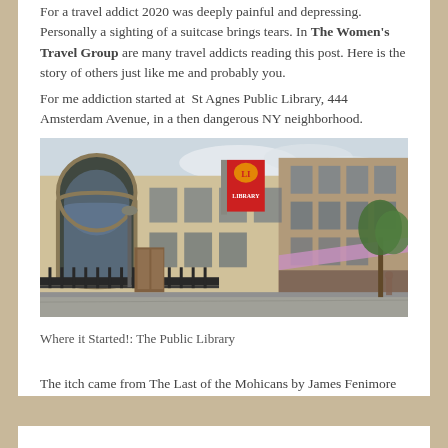For a travel addict 2020 was deeply painful and depressing. Personally a sighting of a suitcase brings tears. In The Women's Travel Group are many travel addicts reading this post. Here is the story of others just like me and probably you.
For me addiction started at  St Agnes Public Library, 444 Amsterdam Avenue, in a then dangerous NY neighborhood.
[Figure (photo): Street-level photograph of St Agnes Public Library building exterior at 444 Amsterdam Avenue, NYC, showing arched windows, iron fence, red NYPL lion banner flag, and storefronts on a cloudy day.]
Where it Started!: The Public Library
The itch came from The Last of the Mohicans by James Fenimore Cooper....